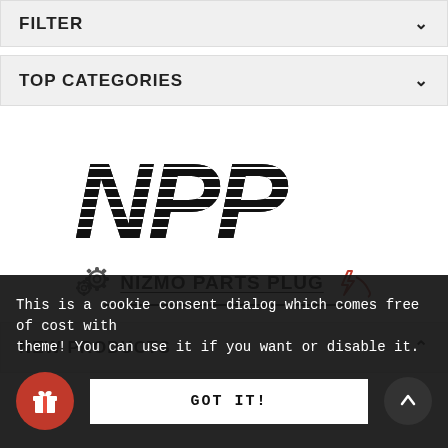FILTER
TOP CATEGORIES
[Figure (logo): NPP - Nizmo Parts Plug logo with large italic striped NPP letters above brand name with gear and plug icons]
NEW PRODUCTS
This is a cookie consent dialog which comes free of cost with theme! You can use it if you want or disable it.
GOT IT!